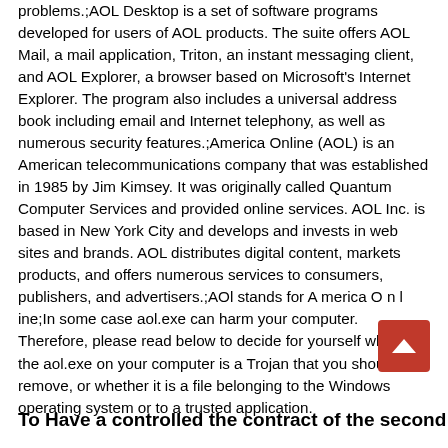problems.;AOL Desktop is a set of software programs developed for users of AOL products. The suite offers AOL Mail, a mail application, Triton, an instant messaging client, and AOL Explorer, a browser based on Microsoft's Internet Explorer. The program also includes a universal address book including email and Internet telephony, as well as numerous security features.;America Online (AOL) is an American telecommunications company that was established in 1985 by Jim Kimsey. It was originally called Quantum Computer Services and provided online services. AOL Inc. is based in New York City and develops and invests in web sites and brands. AOL distributes digital content, markets products, and offers numerous services to consumers, publishers, and advertisers.;AOl stands for A merica O n l ine;In some case aol.exe can harm your computer. Therefore, please read below to decide for yourself whether the aol.exe on your computer is a Trojan that you should remove, or whether it is a file belonging to the Windows operating system or to a trusted application.
To Have a controlled the contract of the second